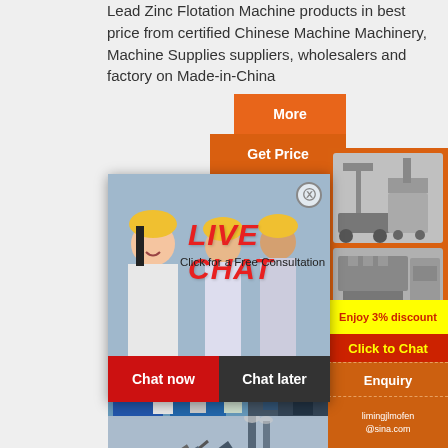Lead Zinc Flotation Machine products in best price from certified Chinese Machine Machinery, Machine Supplies suppliers, wholesalers and factory on Made-in-China
[Figure (other): Orange 'More' button]
[Figure (other): Orange 'Get Price' button]
[Figure (other): Live Chat popup overlay with workers in hard hats, 'LIVE CHAT' title in red italic, 'Click for a Free Consultation' subtitle, close button (x), 'Chat now' red button and 'Chat later' dark button]
[Figure (other): Right orange panel with machinery images, 'Enjoy 3% discount' yellow banner, 'Click to Chat' red/yellow button, 'Enquiry' orange button, and limingjlmofen@sina.com email]
[Figure (photo): Industrial workers in factory with large blue tanks/equipment]
[Figure (photo): Industrial demolition or ruins scene with bent metal structures and smoke stacks]